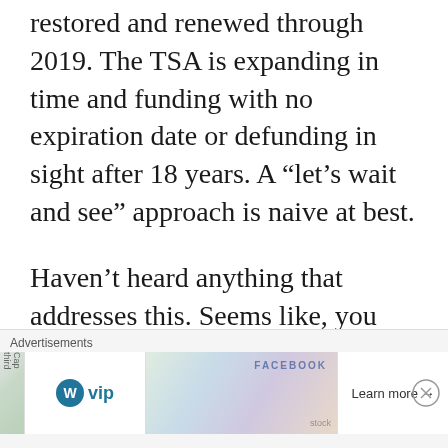restored and renewed through 2019. The TSA is expanding in time and funding with no expiration date or defunding in sight after 18 years. A “let’s wait and see” approach is naive at best.
Haven’t heard anything that addresses this. Seems like, you don’t have a solution, which is fine. But let’s not confuse blogging punditry with constitutional solutions. I am not an
Advertisements